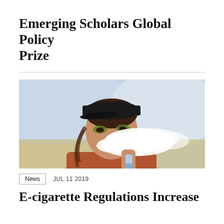Emerging Scholars Global Policy Prize
[Figure (photo): Young woman wearing a black baseball cap and colorful eye makeup, exhaling vapor from an e-cigarette device held in her hand, photographed outdoors.]
News   JUL 11 2019
E-cigarette Regulations Increase